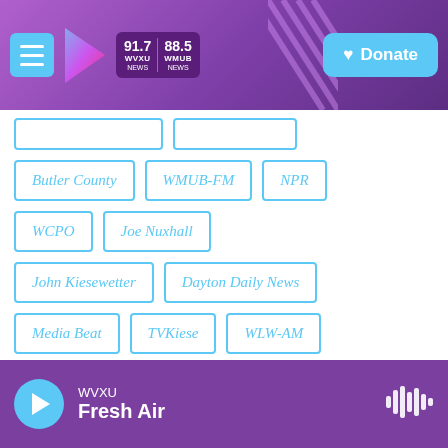WVXU 91.7 NEWS | 88.5 WMUB NEWS | Donate
Butler County
WMUB-FM
NPR
WCPO
Joe Nuxhall
John Kiesewetter
Dayton Daily News
Media Beat
TVKiese
WLW-AM
Marty Brennaman
Bill Hemmer
Fox News
James M. Cox
Chad Pergram
Jacksonburg
WVXU Fresh Air